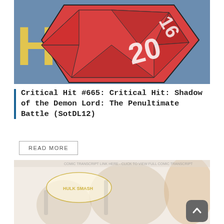[Figure (illustration): Top portion of a 'Critical Hit' podcast logo showing a red d20 die with numbers 16 and 20 visible, on a blue background with yellow letters 'HI' partially visible]
Critical Hit #665: Critical Hit: Shadow of the Demon Lord: The Penultimate Battle (SotDL12)
READ MORE
[Figure (illustration): Comic-style illustration showing characters with a speech bubble saying 'HULK SMASH' style text, faded/watermarked appearance]